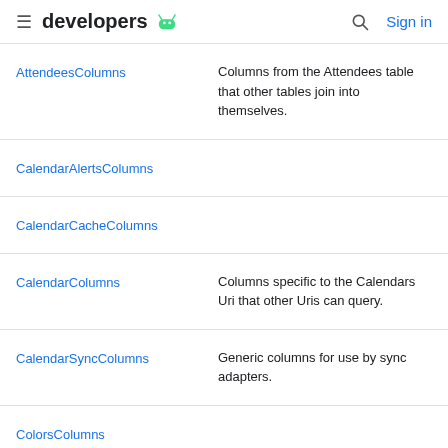developers
| Interface | Description |
| --- | --- |
| AttendeesColumns | Columns from the Attendees table that other tables join into themselves. |
| CalendarAlertsColumns |  |
| CalendarCacheColumns |  |
| CalendarColumns | Columns specific to the Calendars Uri that other Uris can query. |
| CalendarSyncColumns | Generic columns for use by sync adapters. |
| ColorsColumns |  |